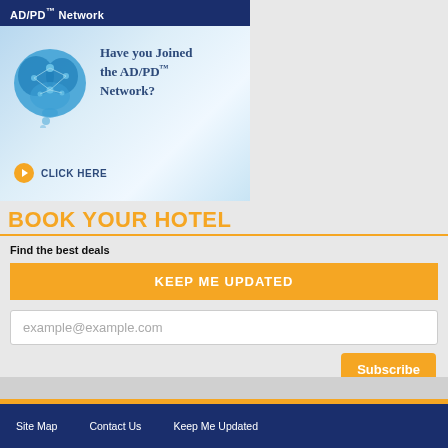AD/PD™ Network
[Figure (infographic): AD/PD Network promotional card with brain icon and text 'Have you Joined the AD/PD™ Network?' with 'Click here' call to action]
BOOK YOUR HOTEL
Find the best deals
KEEP ME UPDATED
example@example.com
Subscribe
Site Map   Contact Us   Keep Me Updated